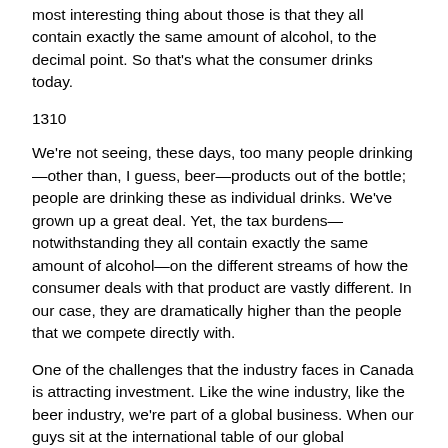most interesting thing about those is that they all contain exactly the same amount of alcohol, to the decimal point. So that's what the consumer drinks today.
1310
We're not seeing, these days, too many people drinking—other than, I guess, beer—products out of the bottle; people are drinking these as individual drinks. We've grown up a great deal. Yet, the tax burdens—notwithstanding they all contain exactly the same amount of alcohol—on the different streams of how the consumer deals with that product are vastly different. In our case, they are dramatically higher than the people that we compete directly with.
One of the challenges that the industry faces in Canada is attracting investment. Like the wine industry, like the beer industry, we're part of a global business. When our guys sit at the international table of our global companies, if the returns in Canada are a lot less than they are elsewhere—